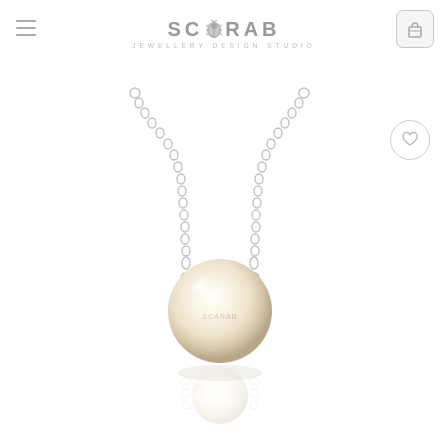SCARAB JEWELLERY DESIGN STUDIO
[Figure (photo): Pearl pendant necklace with silver rolo chain. A single large cream/white pearl is threaded onto a silver chain, with a reflection visible below. The pearl has subtle engraved branding. The necklace is displayed on a white background.]